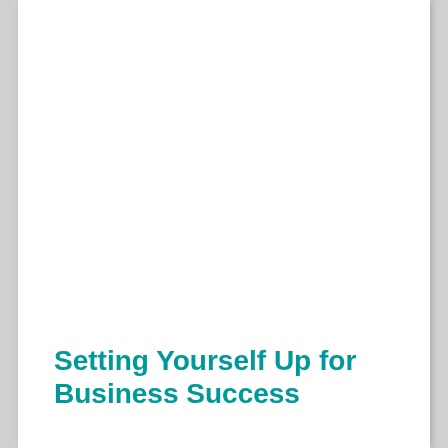Setting Yourself Up for Business Success